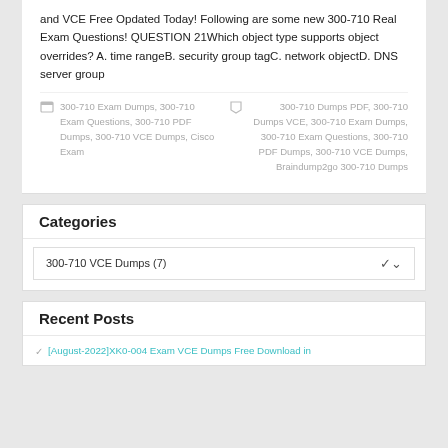and VCE Free Opdated Today! Following are some new 300-710 Real Exam Questions! QUESTION 21Which object type supports object overrides? A. time rangeB. security group tagC. network objectD. DNS server group
300-710 Exam Dumps, 300-710 Exam Questions, 300-710 PDF Dumps, 300-710 VCE Dumps, Cisco Exam
300-710 Dumps PDF, 300-710 Dumps VCE, 300-710 Exam Dumps, 300-710 Exam Questions, 300-710 PDF Dumps, 300-710 VCE Dumps, Braindump2go 300-710 Dumps
Categories
300-710 VCE Dumps  (7)
Recent Posts
[August-2022]XK0-004 Exam VCE Dumps Free Download in